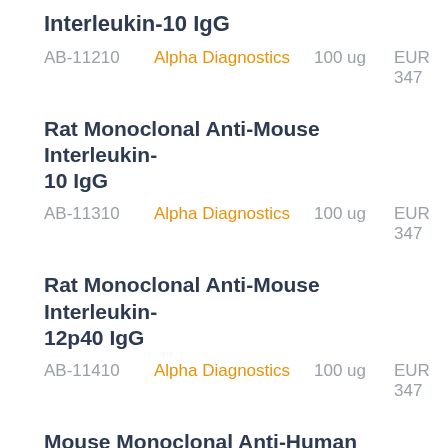Interleukin-10 IgG
AB-11210   Alpha Diagnostics   100 ug   EUR 347
Rat Monoclonal Anti-Mouse Interleukin-10 IgG
AB-11310   Alpha Diagnostics   100 ug   EUR 347
Rat Monoclonal Anti-Mouse Interleukin-12p40 IgG
AB-11410   Alpha Diagnostics   100 ug   EUR 347
Mouse Monoclonal Anti-Human Interleukin-15 IgG